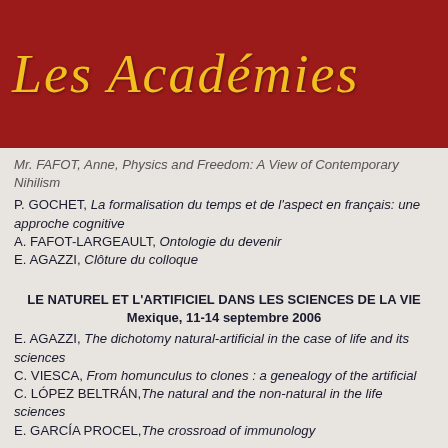Les Académies
Mr. FAFOT, Anne, Physics and Freedom: A View of Contemporary Nihilism
P. GOCHET, La formalisation du temps et de l'aspect en français: une approche cognitive
A. FAFOT-LARGEAULT, Ontologie du devenir
E. AGAZZI, Clôture du colloque
LE NATUREL ET L'ARTIFICIEL DANS LES SCIENCES DE LA VIE
Mexique, 11-14 septembre 2006
E. AGAZZI, The dichotomy natural-artificial in the case of life and its sciences
C. VIESCA, From homunculus to clones : a genealogy of the artificial
C. LÓPEZ BELTRÁN, The natural and the non-natural in the life sciences
E. GARCÍA PROCEL, The crossroad of immunology